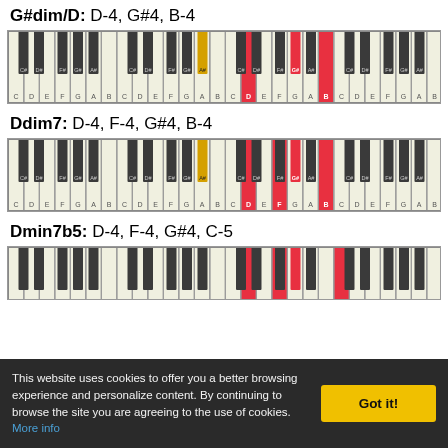G#dim/D: D-4, G#4, B-4
[Figure (illustration): Piano keyboard diagram showing G#dim/D chord with D-4 and B highlighted in red on white keys, G#4 highlighted in red on black key]
Ddim7: D-4, F-4, G#4, B-4
[Figure (illustration): Piano keyboard diagram showing Ddim7 chord with D-4, F-4, B highlighted in red on white keys, G#4 highlighted in red on black key]
Dmin7b5: D-4, F-4, G#4, C-5
[Figure (illustration): Piano keyboard diagram showing Dmin7b5 chord partially visible, D-4 and F highlighted in red]
This website uses cookies to offer you a better browsing experience and personalize content. By continuing to browse the site you are agreeing to the use of cookies. More info